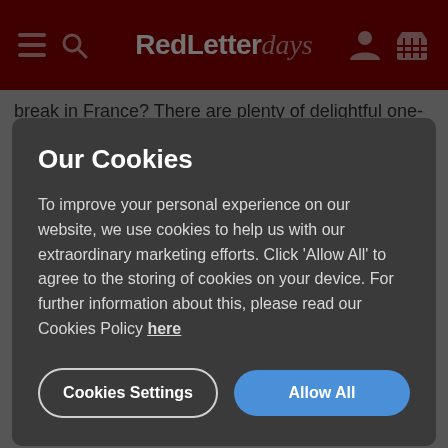Red Letter days — navigation bar with hamburger menu, search, account and basket icons
break in France? There are plenty of delightful one-night breaks
Our Cookies
To improve your personal experience on our website, we use cookies to help us with our extraordinary marketing efforts. Click ‘Allow All’ to agree to the storing of cookies on your device. For further information about this, please read our Cookies Policy here
Cookies Settings
Allow All
£79.99
Buy Now